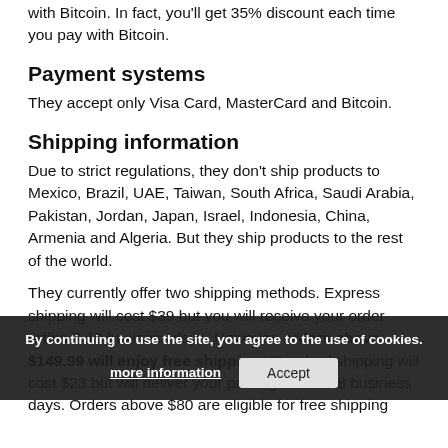with Bitcoin. In fact, you'll get 35% discount each time you pay with Bitcoin.
Payment systems
They accept only Visa Card, MasterCard and Bitcoin.
Shipping information
Due to strict regulations, they don't ship products to Mexico, Brazil, UAE, Taiwan, South Africa, Saudi Arabia, Pakistan, Jordan, Japan, Israel, Indonesia, China, Armenia and Algeria. But they ship products to the rest of the world.
They currently offer two shipping methods. Express shipping will cost $39 but you will receive your order within 7-10 business days. However, orders above $149.99 will enjoy free shipping. Standard shipping will cost $23 but will deliver your package in 10-18 business days. Orders above $80 are eligible for free shipping
By continuing to use the site, you agree to the use of cookies. more information  Accept